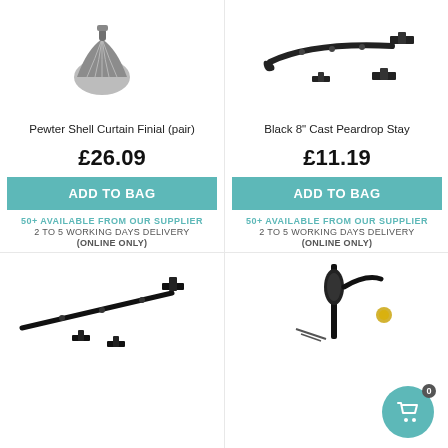[Figure (photo): Pewter Shell Curtain Finial (pair) product photo on white background]
[Figure (photo): Black 8" Cast Peardrop Stay product photo on white background]
Pewter Shell Curtain Finial (pair)
Black 8" Cast Peardrop Stay
£26.09
£11.19
ADD TO BAG
ADD TO BAG
50+ AVAILABLE FROM OUR SUPPLIER
2 TO 5 WORKING DAYS DELIVERY
(ONLINE ONLY)
50+ AVAILABLE FROM OUR SUPPLIER
2 TO 5 WORKING DAYS DELIVERY
(ONLINE ONLY)
[Figure (photo): Black cast stay hardware product photo on white background, partially visible]
[Figure (photo): Black espagnolette bolt or window handle hardware product photo on white background, partially visible, with shopping cart badge overlay showing 0 items]